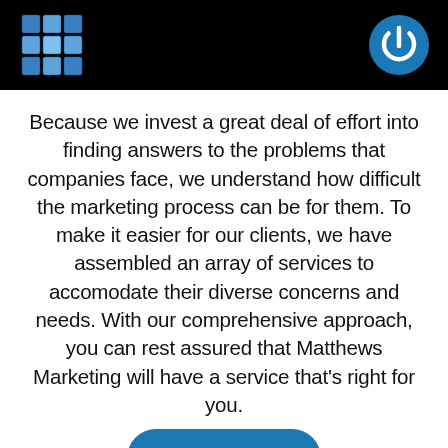[Figure (logo): Black header bar with a blue cube/grid logo on the left and a blue power button icon on the right]
Because we invest a great deal of effort into finding answers to the problems that companies face, we understand how difficult the marketing process can be for them. To make it easier for our clients, we have assembled an array of services to accomodate their diverse concerns and needs. With our comprehensive approach, you can rest assured that Matthews Marketing will have a service that’s right for you.
Continue